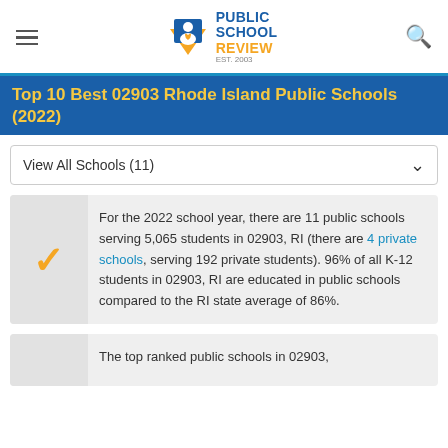Public School Review — EST. 2003
Top 10 Best 02903 Rhode Island Public Schools (2022)
View All Schools (11)
For the 2022 school year, there are 11 public schools serving 5,065 students in 02903, RI (there are 4 private schools, serving 192 private students). 96% of all K-12 students in 02903, RI are educated in public schools compared to the RI state average of 86%.
The top ranked public schools in 02903,